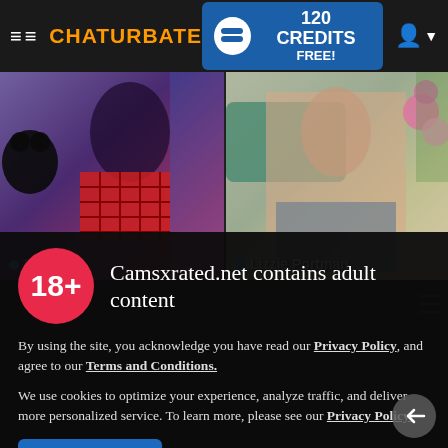≡≡ CHATURBATE  [120 CREDITS FREE!]
[Figure (screenshot): Webcam thumbnail of performer 'Kathie K' in red plaid skirt, dark background]
[Figure (screenshot): Webcam thumbnail of performer 'Lizzie Portman', light background with plants]
[Figure (screenshot): Third webcam thumbnail, dark blurred background]
Camsxrated.net contains adult content
By using the site, you acknowledge you have read our Privacy Policy, and agree to our Terms and Conditions.
We use cookies to optimize your experience, analyze traffic, and deliver more personalized service. To learn more, please see our Privacy Policy.
I AGREE